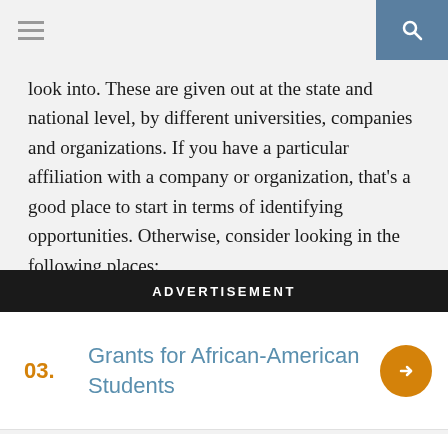look into. These are given out at the state and national level, by different universities, companies and organizations. If you have a particular affiliation with a company or organization, that’s a good place to start in terms of identifying opportunities. Otherwise, consider looking in the following places:
ADVERTISEMENT
03. Grants for African-American Students
04. 2022 Grants Available